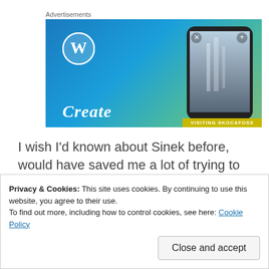Advertisements
[Figure (screenshot): WordPress advertisement banner with blue-to-green gradient background, WordPress logo (white W in circle) on the left, cursive 'Create' text at bottom left, and a phone mockup on the right showing a scenic waterfall photo with 'VISITING SKOCAFOSS' label.]
I wish I'd known about Sinek before, would have saved me a lot of trying to get people to see that it didn't matter how long they'd been there, how much merchandise they had, how diverse it was, etc. NONE of that is the real
Privacy & Cookies: This site uses cookies. By continuing to use this website, you agree to their use.
To find out more, including how to control cookies, see here: Cookie Policy
Close and accept